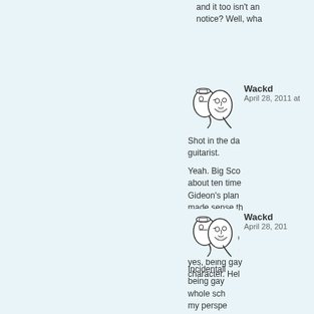and it too isn't an notice? Well, wha
Wackd
April 28, 2011 at
Shot in the da guitarist.
Yeah. Big Sco about ten time Gideon's plan made sense th they played it
My remark ab way things se yes, being gay character. Hel
Wackd
April 28, 201
Incidentall being gay whole sch my perspe sure what rereading